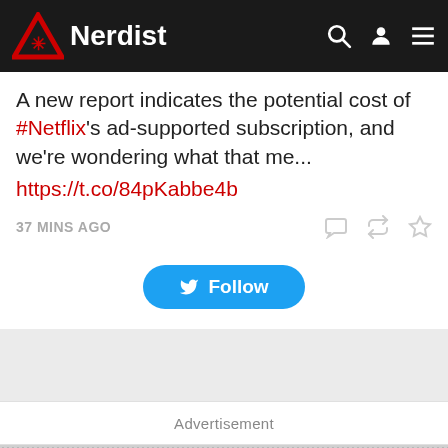Nerdist
A new report indicates the potential cost of #Netflix's ad-supported subscription, and we're wondering what that me... https://t.co/84pKabbe4b
37 MINS AGO
[Figure (screenshot): Twitter Follow button (blue rounded button with Twitter bird icon)]
Advertisement
CONTACT   ABOUT   PODCASTS   VIDEOS   PRIVACY POLICY